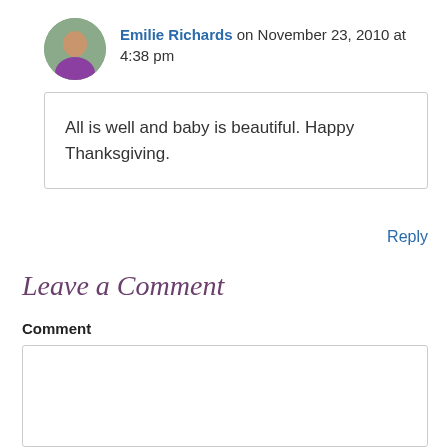Emilie Richards on November 23, 2010 at 4:38 pm
All is well and baby is beautiful. Happy Thanksgiving.
Reply
Leave a Comment
Comment